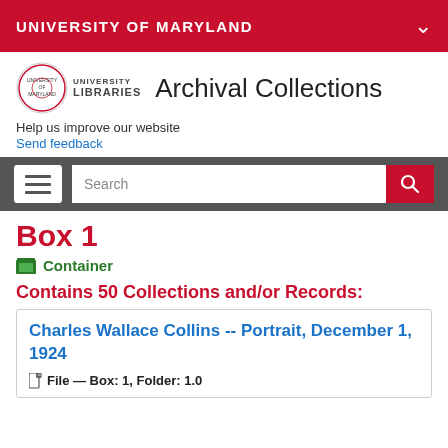UNIVERSITY OF MARYLAND
[Figure (logo): University of Maryland Libraries logo with circular seal and text UNIVERSITY LIBRARIES]
Archival Collections
Help us improve our website
Send feedback
[Figure (screenshot): Navigation bar with hamburger menu button and Search input field with red search button]
Box 1
Container
Contains 50 Collections and/or Records:
Charles Wallace Collins -- Portrait, December 1, 1924
File — Box: 1, Folder: 1.0